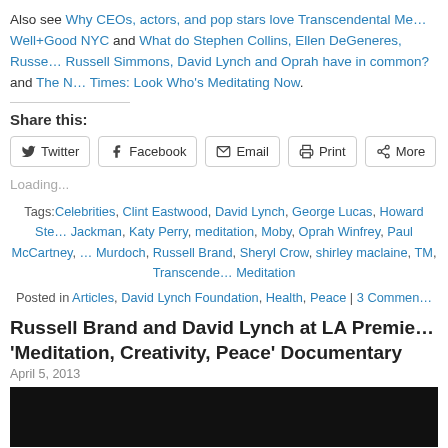Also see Why CEOs, actors, and pop stars love Transcendental Me... Well+Good NYC and What do Stephen Collins, Ellen DeGeneres, Russe... Russell Simmons, David Lynch and Oprah have in common? and The N... Times: Look Who's Meditating Now.
Share this:
Twitter | Facebook | Email | Print | More
Loading...
Tags: Celebrities, Clint Eastwood, David Lynch, George Lucas, Howard Ste... Jackman, Katy Perry, meditation, Moby, Oprah Winfrey, Paul McCartney, ... Murdoch, Russell Brand, Sheryl Crow, shirley maclaine, TM, Transcende... Meditation
Posted in Articles, David Lynch Foundation, Health, Peace | 3 Commen...
Russell Brand and David Lynch at LA Premie... 'Meditation, Creativity, Peace' Documentary
April 5, 2013